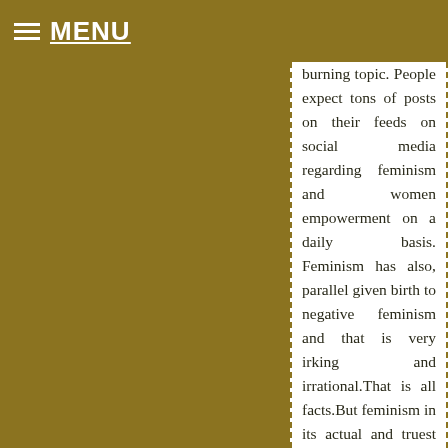MENU
burning topic. People expect tons of posts on their feeds on social media regarding feminism and women empowerment on a daily basis. Feminism has also, parallel given birth to negative feminism and that is very irking and irrational.That is all facts.But feminism in its actual and truest sense can be irritating too. Of course, advocates of patriarchy are nodding their heads in agreement right now. But real feminism too can be irritating to others.How?If I show you a photo of a red car and repeatedly try to tell you,“This four wheeler is red in